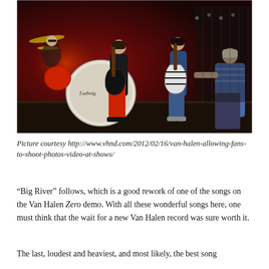[Figure (photo): Concert photo of Van Halen performing on stage. Multiple band members visible including a guitarist in red pants playing a black guitar, another guitarist with a striped guitar, and a performer in a blue striped shirt. A Ludwig drum kit is visible in the background with red stage lighting.]
Picture courtesy http://www.vhnd.com/2012/02/16/van-halen-allowing-fans-to-shoot-photos-video-at-shows/
“Big River” follows, which is a good rework of one of the songs on the Van Halen Zero demo. With all these wonderful songs here, one must think that the wait for a new Van Halen record was sure worth it.
The last, loudest and heaviest, and most likely, the best song